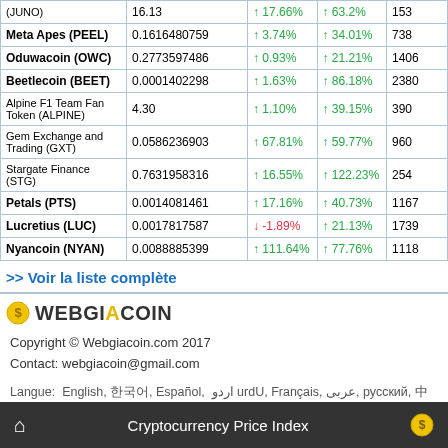| Name | Price | 24h | 7d | Rank |
| --- | --- | --- | --- | --- |
| (JUNO) | 16.13 | ↑ 17.66% | ↑ 63.2% | 153 |
| Meta Apes (PEEL) | 0.1616480759 | ↑ 3.74% | ↑ 34.01% | 738 |
| Oduwacoin (OWC) | 0.2773597486 | ↑ 0.93% | ↑ 21.21% | 1406 |
| Beetlecoin (BEET) | 0.0001402298 | ↑ 1.63% | ↑ 86.18% | 2380 |
| Alpine F1 Team Fan Token (ALPINE) | 4.30 | ↑ 1.10% | ↑ 39.15% | 390 |
| Gem Exchange and Trading (GXT) | 0.0586236903 | ↑ 67.81% | ↑ 59.77% | 960 |
| Stargate Finance (STG) | 0.7631958316 | ↑ 16.55% | ↑ 122.23% | 254 |
| Petals (PTS) | 0.0014081461 | ↑ 17.16% | ↑ 40.73% | 1167 |
| Lucretius (LUC) | 0.0017817587 | ↓ -1.89% | ↑ 21.13% | 1739 |
| Nyancoin (NYAN) | 0.0088885399 | ↑ 111.64% | ↑ 77.76% | 1118 |
>> Voir la liste complète
[Figure (logo): Webgiacoin logo with yellow circle and text WEBGIACOIN]
Copyright © Webgiacoin.com 2017
Contact: webgiacoin@gmail.com
Langue: English, 한국어, Español, اردو, Français, عربى, русский, 中文, 日本語, Bahasa Indonesia, Türk, Tiếng Việt,
Cryptocurrency Price Index